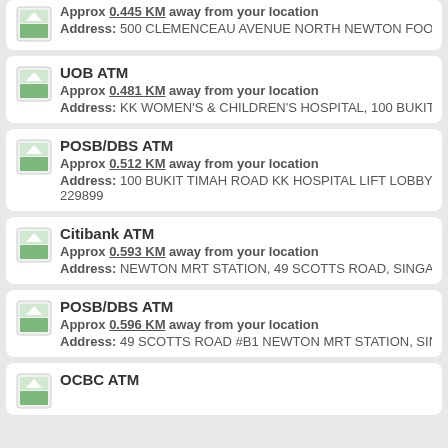Approx 0.445 KM away from your location
Address: 500 CLEMENCEAU AVENUE NORTH NEWTON FOOD CENTRE,
UOB ATM
Approx 0.481 KM away from your location
Address: KK WOMEN'S & CHILDREN'S HOSPITAL, 100 BUKIT TIMAH ROA
POSB/DBS ATM
Approx 0.512 KM away from your location
Address: 100 BUKIT TIMAH ROAD KK HOSPITAL LIFT LOBBY CHILDREN' 229899
Citibank ATM
Approx 0.593 KM away from your location
Address: NEWTON MRT STATION, 49 SCOTTS ROAD, SINGAPORE 2282
POSB/DBS ATM
Approx 0.596 KM away from your location
Address: 49 SCOTTS ROAD #B1 NEWTON MRT STATION, SINGAPORE 2
OCBC ATM